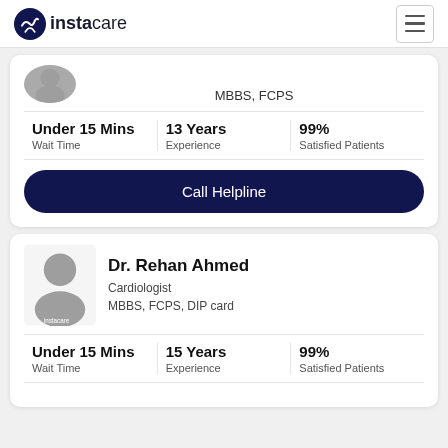instacare
MBBS, FCPS
Under 15 Mins
Wait Time
13 Years
Experience
99%
Satisfied Patients
Call Helpline
Dr. Rehan Ahmed
Cardiologist
MBBS, FCPS, DIP card
Under 15 Mins
Wait Time
15 Years
Experience
99%
Satisfied Patients